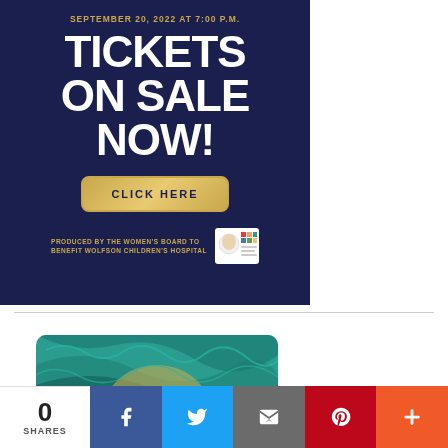[Figure (infographic): Dark navy blue advertisement banner for an event on September 20, 2022 at 7:00 P.M. with large white text reading TICKETS ON SALE NOW! and a gold CLICK HERE button. Footer text reads PRODUCED BY THE WOMEN'S BOARD TO BENEFIT WOLFSON CHILDREN'S HOSPITAL with a Wolfson Children's Hospital logo.]
[Figure (photo): Partial image of colorful swirling teal and gold abstract artwork, partially cropped at the bottom of the page.]
0 SHARES
[Figure (infographic): Social sharing bar with Facebook, Twitter, Email, Pinterest, and More (+) buttons.]